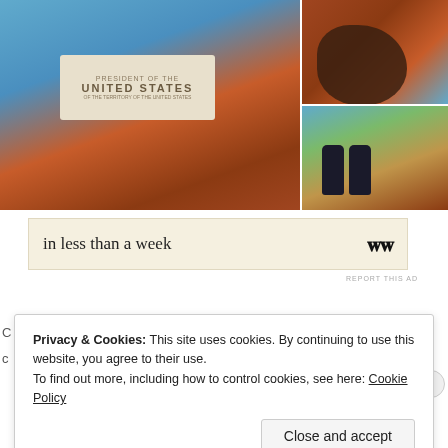[Figure (photo): Three outdoor photos: large left photo shows a stone marker/monument reading 'UNITED STATES' set on red rocks with blue sky and pine trees. Top right shows a close-up of a large dark brown dog on red rocks. Bottom right shows two people sitting on red rocks with canyon views behind them.]
in less than a week
REPORT THIS AD
Privacy & Cookies: This site uses cookies. By continuing to use this website, you agree to their use.
To find out more, including how to control cookies, see here: Cookie Policy
Close and accept